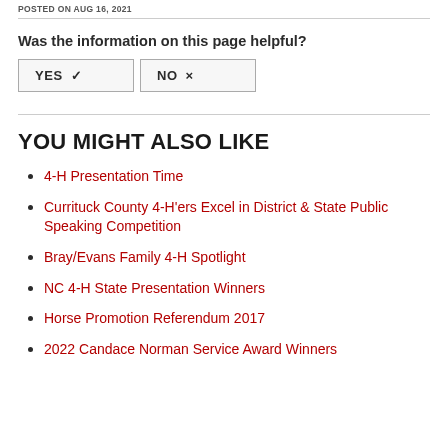POSTED ON AUG 16, 2021
Was the information on this page helpful?
YES ✓   NO ×
YOU MIGHT ALSO LIKE
4-H Presentation Time
Currituck County 4-H'ers Excel in District & State Public Speaking Competition
Bray/Evans Family 4-H Spotlight
NC 4-H State Presentation Winners
Horse Promotion Referendum 2017
2022 Candace Norman Service Award Winners